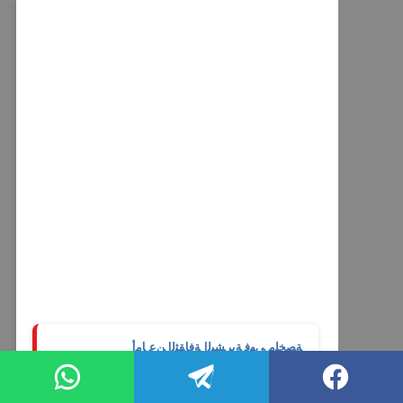ﺔﺼﺨﻠﻣ ﻲﻬﻓ ﺔﻳﺮﺸﺒﻟا ﺔﻓﺎﻘﺜﻟا ﻦﻋ ﺎﻣأ
[Figure (other): Social sharing bar with WhatsApp (green), Telegram (blue), and Facebook (dark blue) buttons at the bottom of the page]